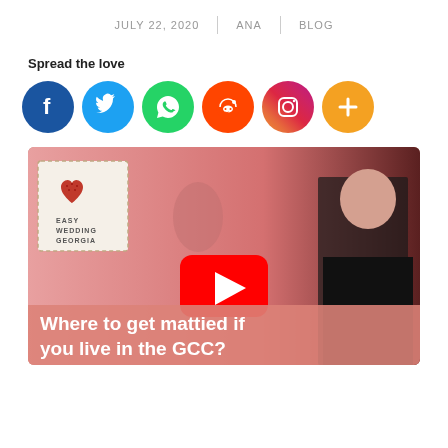JULY 22, 2020 | ANA | BLOG
Spread the love
[Figure (infographic): Social sharing icons: Facebook (dark blue), Twitter (light blue), WhatsApp (green), Reddit (orange-red), Instagram (gradient purple/orange), More/Plus (orange)]
[Figure (photo): YouTube video thumbnail for 'Easy Wedding Georgia' with text 'Where to get mattied if you live in the GCC?' showing a man in black turtleneck and a couple in wedding attire with a YouTube play button overlay]